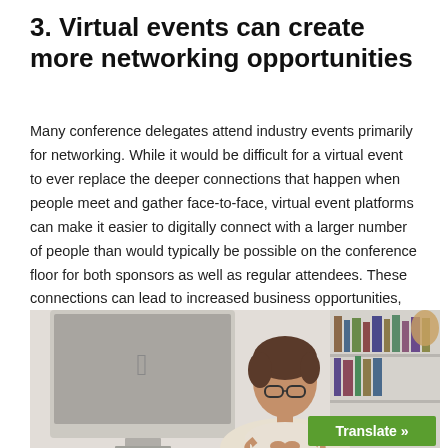3. Virtual events can create more networking opportunities
Many conference delegates attend industry events primarily for networking. While it would be difficult for a virtual event to ever replace the deeper connections that happen when people meet and gather face-to-face, virtual event platforms can make it easier to digitally connect with a larger number of people than would typically be possible on the conference floor for both sponsors as well as regular attendees. These connections can lead to increased business opportunities, and improve the event outcomes for delegates.
[Figure (photo): A person with short hair and glasses sitting at a desk in front of an Apple iMac monitor, with a bookshelf visible in the background. There is a green 'Translate »' button overlay in the bottom right.]